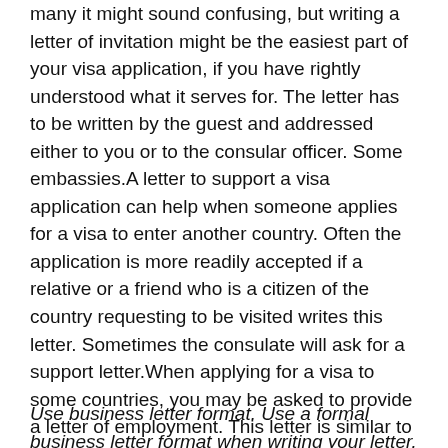many it might sound confusing, but writing a letter of invitation might be the easiest part of your visa application, if you have rightly understood what it serves for. The letter has to be written by the guest and addressed either to you or to the consular officer. Some embassies.A letter to support a visa application can help when someone applies for a visa to enter another country. Often the application is more readily accepted if a relative or a friend who is a citizen of the country requesting to be visited writes this letter. Sometimes the consulate will ask for a support letter.When applying for a visa to some countries, you may be asked to provide a letter of employment. This letter is similar to the letter you received when you started working at your current job. However, it is a little different. A letter of Employment for Visa application is written to show that the employee is still employed at the company and.
Use business letter format. Use a formal business letter format when writing your letter. Include your contact